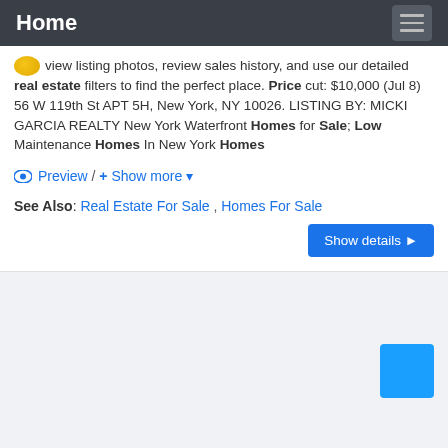Home
View listing photos, review sales history, and use our detailed real estate filters to find the perfect place. Price cut: $10,000 (Jul 8) 56 W 119th St APT 5H, New York, NY 10026. LISTING BY: MICKI GARCIA REALTY New York Waterfront Homes for Sale; Low Maintenance Homes In New York Homes
Preview / + Show more ▾
See Also: Real Estate For Sale , Homes For Sale
Show details ▶